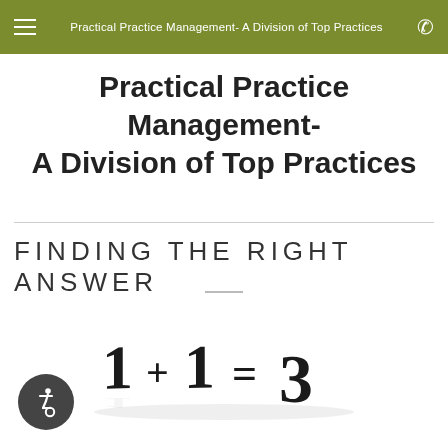Practical Practice Management- A Division of Top Practices
Practical Practice Management- A Division of Top Practices
FINDING THE RIGHT ANSWER
[Figure (photo): Photo of physical 3D number characters spelling out '1+1=3' on a white background, with subtle shadows and reflections beneath the characters.]